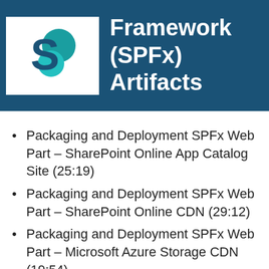[Figure (logo): SharePoint logo (white S with teal circles on white background) inside dark teal banner with text 'Framework (SPFx) Artifacts']
Framework (SPFx) Artifacts
Packaging and Deployment SPFx Web Part – SharePoint Online App Catalog Site (25:19)
Packaging and Deployment SPFx Web Part – SharePoint Online CDN (29:12)
Packaging and Deployment SPFx Web Part – Microsoft Azure Storage CDN (19:54)